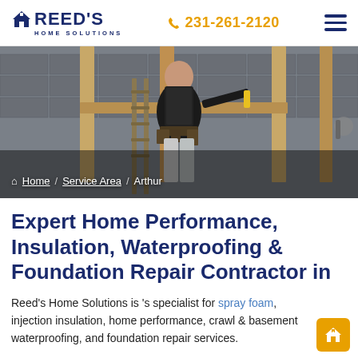REED'S HOME SOLUTIONS | 231-261-2120
[Figure (photo): A construction worker from behind wearing a tool belt, working on a building's wooden frame interior with concrete block walls visible.]
Home / Service Area / Arthur
Expert Home Performance, Insulation, Waterproofing & Foundation Repair Contractor in
Reed's Home Solutions is 's specialist for spray foam, injection insulation, home performance, crawl & basement waterproofing, and foundation repair services.